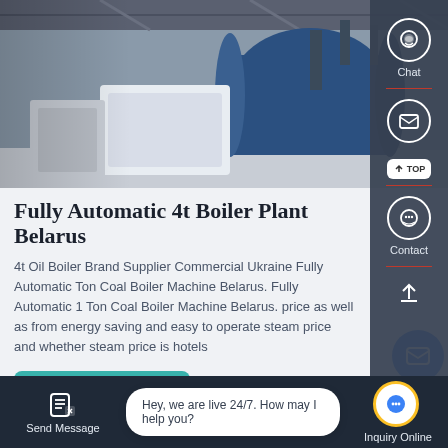[Figure (photo): Industrial boiler plant interior showing large blue cylindrical boiler equipment, pipes, and insulated tanks in a warehouse facility]
Fully Automatic 4t Boiler Plant Belarus
4t Oil Boiler Brand Supplier Commercial Ukraine Fully Automatic Ton Coal Boiler Machine Belarus. Fully Automatic 1 Ton Coal Boiler Machine Belarus. price as well as from energy saving and easy to operate steam price and whether steam price is hotels
Get A Quote
Chat
Email
Contact
Send Message
Hey, we are live 24/7. How may I help you?
Inquiry Online